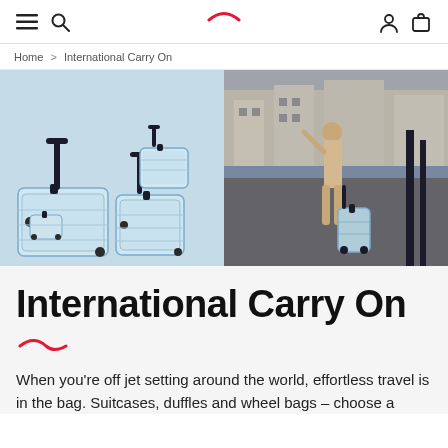Navigation bar with hamburger menu, search, logo, account and cart icons
Home > International Carry On
[Figure (photo): Left: Multiple light blue/mint suitcases of various sizes stacked together on a light blue background. Right: A woman in white outfit standing with a light blue carry-on suitcase in a European city square.]
International Carry On
When you're off jet setting around the world, effortless travel is in the bag. Suitcases, duffles and wheel bags – choose a